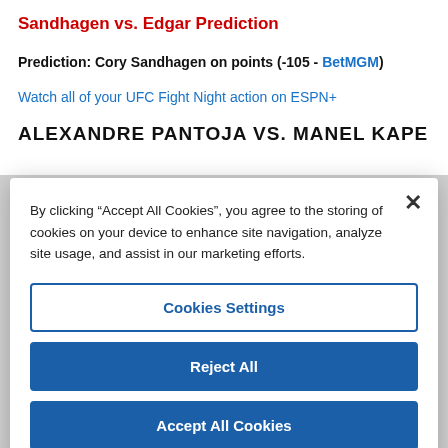Sandhagen vs. Edgar Prediction
Prediction: Cory Sandhagen on points (-105 - BetMGM)
Watch all of your UFC Fight Night action on ESPN+
ALEXANDRE PANTOJA VS. MANEL KAPE
By clicking “Accept All Cookies”, you agree to the storing of cookies on your device to enhance site navigation, analyze site usage, and assist in our marketing efforts.
Cookies Settings
Reject All
Accept All Cookies